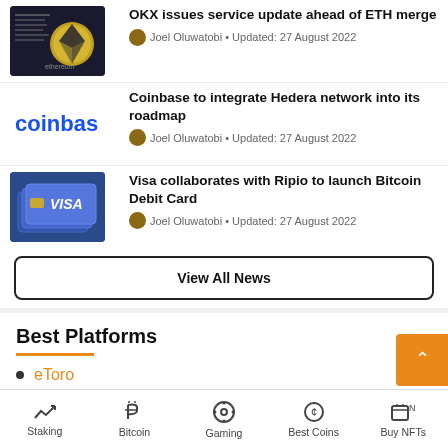[Figure (photo): Ethereum coin on newspaper background]
OKX issues service update ahead of ETH merge
Joel Oluwatobi • Updated: 27 August 2022
[Figure (logo): Coinbase logo]
Coinbase to integrate Hedera network into its roadmap
Joel Oluwatobi • Updated: 27 August 2022
[Figure (photo): Visa credit cards stacked]
Visa collaborates with Ripio to launch Bitcoin Debit Card
Joel Oluwatobi • Updated: 27 August 2022
View All News
Best Platforms
eToro
Staking • Bitcoin • Gaming • Best Coins • Buy NFTs